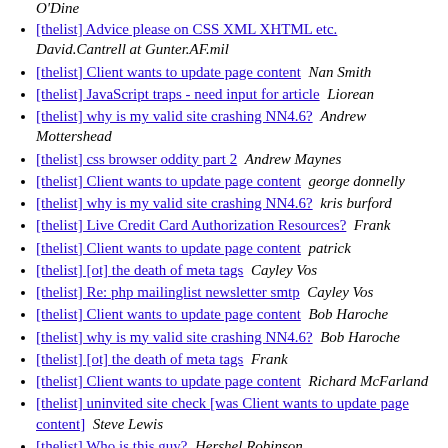O'Dine
[thelist] Advice please on CSS XML XHTML etc.  David.Cantrell at Gunter.AF.mil
[thelist] Client wants to update page content   Nan Smith
[thelist] JavaScript traps - need input for article   Liorean
[thelist] why is my valid site crashing NN4.6?   Andrew Mottershead
[thelist] css browser oddity part 2   Andrew Maynes
[thelist] Client wants to update page content  george donnelly
[thelist] why is my valid site crashing NN4.6?   kris burford
[thelist] Live Credit Card Authorization Resources?   Frank
[thelist] Client wants to update page content   patrick
[thelist] [ot] the death of meta tags   Cayley Vos
[thelist] Re: php mailinglist newsletter smtp   Cayley Vos
[thelist] Client wants to update page content   Bob Haroche
[thelist] why is my valid site crashing NN4.6?   Bob Haroche
[thelist] [ot] the death of meta tags   Frank
[thelist] Client wants to update page content   Richard McFarland
[thelist] uninvited site check [was Client wants to update page content]   Steve Lewis
[thelist] Who is this guy?   Hershel Robinson
[thelist] Client wants to update page content   Richard